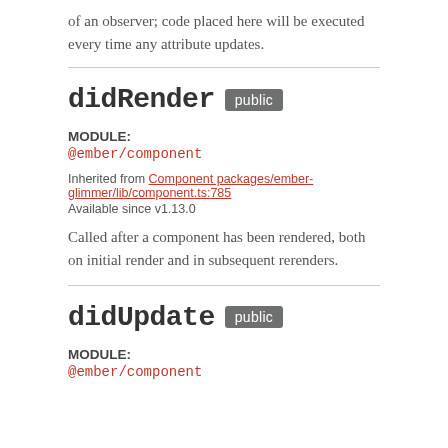of an observer; code placed here will be executed every time any attribute updates.
didRender public
MODULE:
@ember/component
Inherited from Component packages/ember-glimmer/lib/component.ts:785
Available since v1.13.0
Called after a component has been rendered, both on initial render and in subsequent rerenders.
didUpdate public
MODULE:
@ember/component